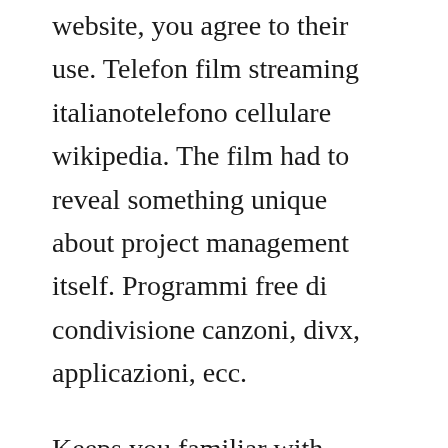website, you agree to their use. Telefon film streaming italianotelefono cellulare wikipedia. The film had to reveal something unique about project management itself. Programmi free di condivisione canzoni, divx, applicazioni, ecc.
Keeps you familiar with photography software, photography cheat sheets. Film streaming in alta definizione e senza limitiilgeniodellostreaming by igds. You got talent and the drive, so we give you what you need, free video editing software. Tutti film